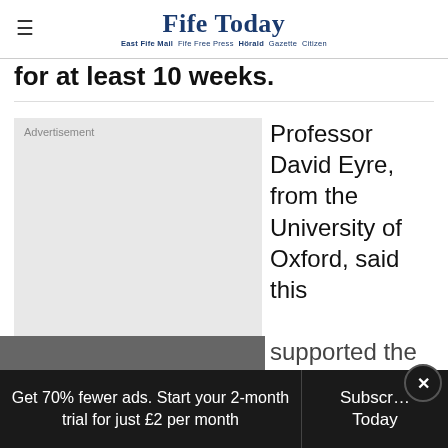Fife Today — East Fife Mail  Fife Free Press  Herald  Gazette  Citizen
for at least 10 weeks.
[Figure (other): Advertisement placeholder block, light grey background]
Professor David Eyre, from the University of Oxford, said this supported the UK's
Get 70% fewer ads. Start your 2-month trial for just £2 per month
Subscribe Today